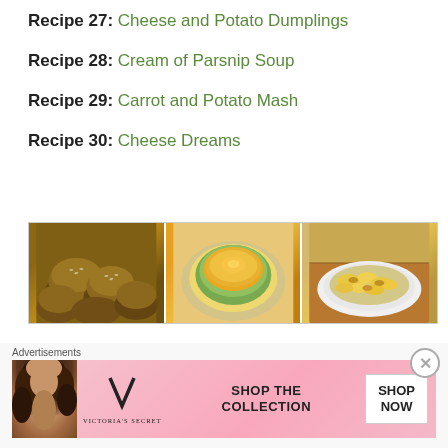Recipe 27: Cheese and Potato Dumplings
Recipe 28: Cream of Parsnip Soup
Recipe 29: Carrot and Potato Mash
Recipe 30: Cheese Dreams
[Figure (photo): Three food photos side by side: bread rolls/buns, a bowl of golden soup, and a cheesy gratin dish on a plate]
Recipe 31: Farmhouse Scramble (version 1)
Advertisements
[Figure (photo): Victoria's Secret advertisement banner with model, VS logo, 'SHOP THE COLLECTION' text, and 'SHOP NOW' button]